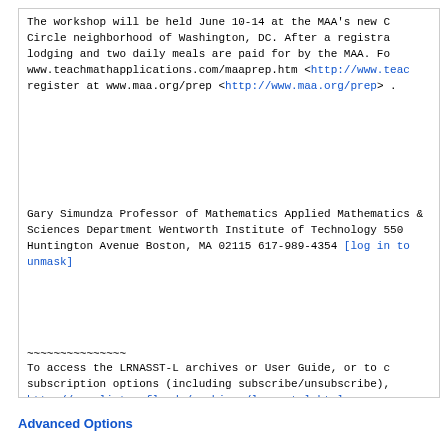The workshop will be held June 10-14 at the MAA's new C Circle neighborhood of Washington, DC. After a registra lodging and two daily meals are paid for by the MAA. Fo www.teachmathapplications.com/maaprep.htm <http://www.teac register at www.maa.org/prep <http://www.maa.org/prep> .
Gary Simundza
Professor of Mathematics
Applied Mathematics & Sciences Department
Wentworth Institute of Technology
550 Huntington Avenue
Boston, MA 02115
617-989-4354
[log in to unmask]
~~~~~~~~~~~~~~~
To access the LRNASST-L archives or User Guide, or to c subscription options (including subscribe/unsubscribe), http://www.lists.ufl.edu/archives/lrnasst-l.html

To contact the LRNASST-L owner, email [log in to unmask]
Advanced Options